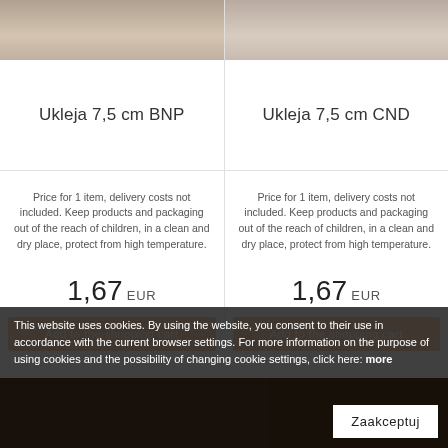[Figure (photo): Top product image strip left - blurred beige/brown surface]
Ukleja 7,5 cm BNP
Price for 1 item, delivery costs not included. Keep products and packaging out of the reach of children, in a clean and dry place, protect from high temperature.
1,67 EUR
Add to the shopping cart
[Figure (photo): Top product image strip right - blurred beige/brown surface]
Ukleja 7,5 cm CND
Price for 1 item, delivery costs not included. Keep products and packaging out of the reach of children, in a clean and dry place, protect from high temperature.
1,67 EUR
Add to the shopping cart
This website uses cookies. By using the website, you consent to their use in accordance with the current browser settings. For more information on the purpose of using cookies and the possibility of changing cookie settings, click here: more
[Figure (photo): Bottom dark product images row]
Zaakceptuj